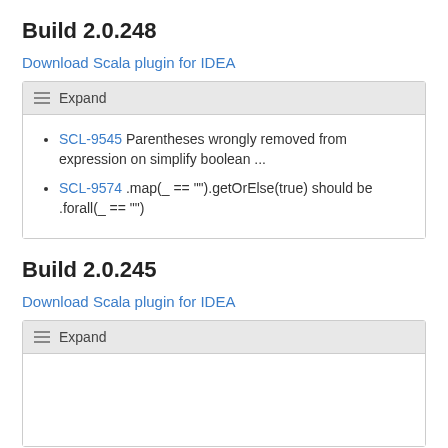Build 2.0.248
Download Scala plugin for IDEA
Expand
SCL-9545 Parentheses wrongly removed from expression on simplify boolean ...
SCL-9574 .map(_ == "").getOrElse(true) should be .forall(_ == "")
Build 2.0.245
Download Scala plugin for IDEA
Expand
Build 2.0.240